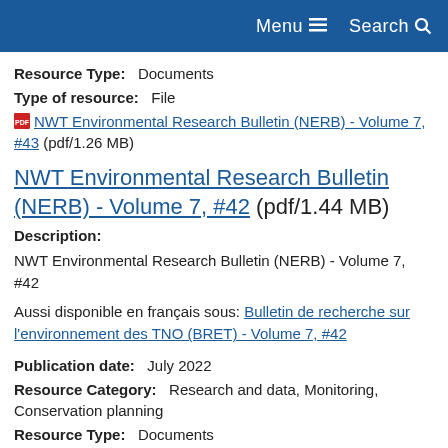Menu  Search
Resource Type:  Documents
Type of resource:  File
NWT Environmental Research Bulletin (NERB) - Volume 7, #43 (pdf/1.26 MB)
NWT Environmental Research Bulletin (NERB) - Volume 7, #42 (pdf/1.44 MB)
Description:
NWT Environmental Research Bulletin (NERB) - Volume 7, #42
Aussi disponible en français sous: Bulletin de recherche sur l'environnement des TNO (BRET) - Volume 7, #42
Publication date:  July 2022
Resource Category:  Research and data, Monitoring, Conservation planning
Resource Type:  Documents